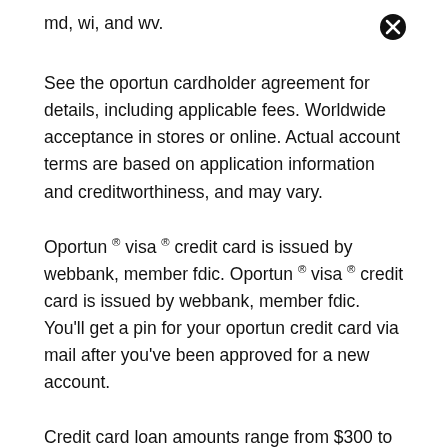md, wi, and wv.
See the oportun cardholder agreement for details, including applicable fees. Worldwide acceptance in stores or online. Actual account terms are based on application information and creditworthiness, and may vary.
Oportun ® visa ® credit card is issued by webbank, member fdic. Oportun ® visa ® credit card is issued by webbank, member fdic. You'll get a pin for your oportun credit card via mail after you've been approved for a new account.
Credit card loan amounts range from $300 to $1,000. Oportun ® visa ® credit card is issued by webbank, member fdic. Now it will have these